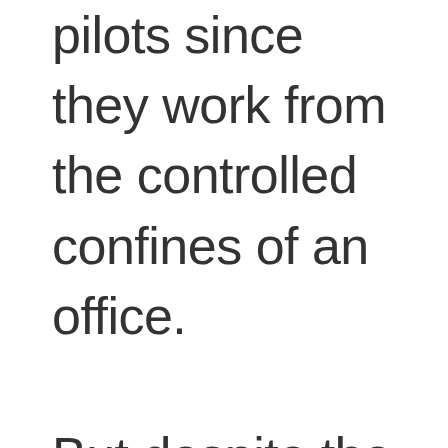pilots since they work from the controlled confines of an office.

But despite the